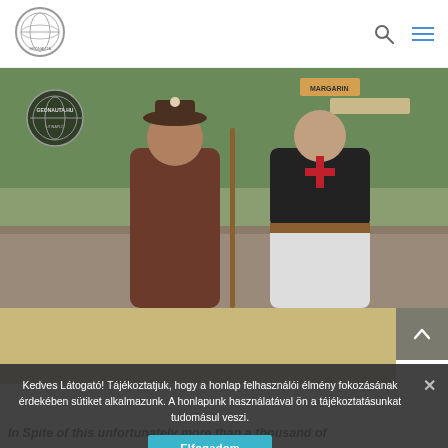Geonauta.hu logo, search icon, menu icon
[Figure (photo): Two men in medieval costumes standing outdoors. One wearing a brown robe with a staff, another in a white and black Templar knight outfit with a red cross. Background shows an outdoor area with signs and greenery. A circular Geonauta.hu logo overlay is visible in the upper-left of the photo.]
Kedves Látogató! Tájékoztatjuk, hogy a honlap felhasználói élmény fokozásának érdekében sütiket alkalmazunk. A honlapunk használatával ön a tájékoztatásunkat tudomásul veszi.
Elfogadom
In Spite of this unfortunately more than a thousand of